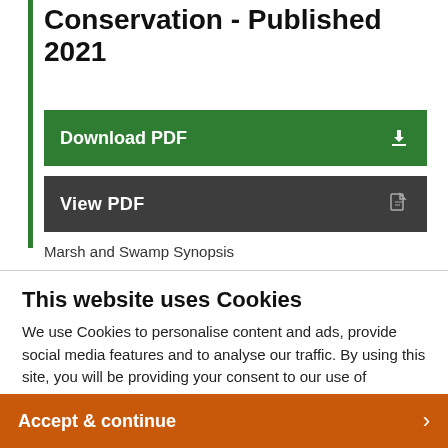Conservation - Published 2021
Download PDF
View PDF
Marsh and Swamp Synopsis
This website uses Cookies
We use Cookies to personalise content and ads, provide social media features and to analyse our traffic. By using this site, you will be providing your consent to our use of Cookies.
Accept & continue